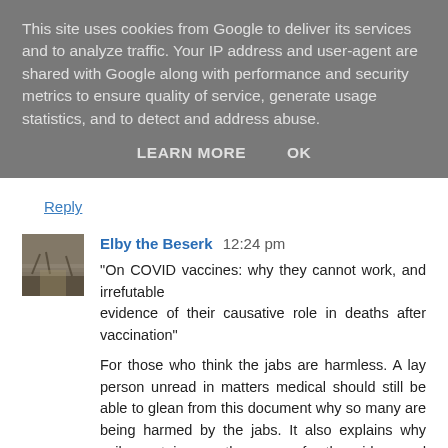This site uses cookies from Google to deliver its services and to analyze traffic. Your IP address and user-agent are shared with Google along with performance and security metrics to ensure quality of service, generate usage statistics, and to detect and address abuse.
LEARN MORE    OK
Reply
Elby the Beserk  12:24 pm
"On COVID vaccines: why they cannot work, and irrefutable
evidence of their causative role in deaths after vaccination"

For those who think the jabs are harmless. A lay person unread in matters medical should still be able to glean from this document why so many are being harmed by the jabs. It also explains why spike proteins are the reason for the widespread reporting of adverse reactions*